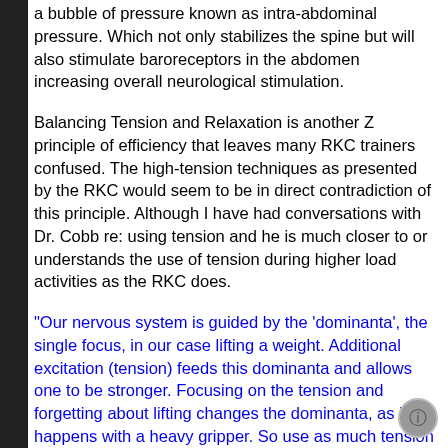a bubble of pressure known as intra-abdominal pressure. Which not only stabilizes the spine but will also stimulate baroreceptors in the abdomen increasing overall neurological stimulation.
Balancing Tension and Relaxation is another Z principle of efficiency that leaves many RKC trainers confused. The high-tension techniques as presented by the RKC would seem to be in direct contradiction of this principle. Although I have had conversations with Dr. Cobb re: using tension and he is much closer to or understands the use of tension during higher load activities as the RKC does.
"Our nervous system is guided by the 'dominanta', the single focus, in our case lifting a weight. Additional excitation (tension) feeds this dominanta and allows one to be stronger. Focusing on the tension and forgetting about lifting changes the dominanta, as it happens with a heavy gripper. So use as much tension as possible—without shifting your focus from lifting. This will take practice. In the beginning you will see a lot of 'coordination tension', beginner's stiffness during skill practice. It makes